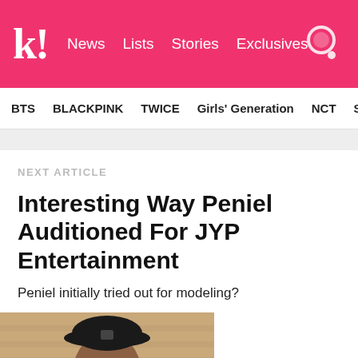k! News Lists Stories Exclusives
BTS BLACKPINK TWICE Girls' Generation NCT SEVE
NEXT ARTICLE
Interesting Way Peniel Auditioned For JYP Entertainment
Peniel initially tried out for modeling?
[Figure (photo): Photo of Peniel wearing a black cap, partially visible, with partial blue text to the right]